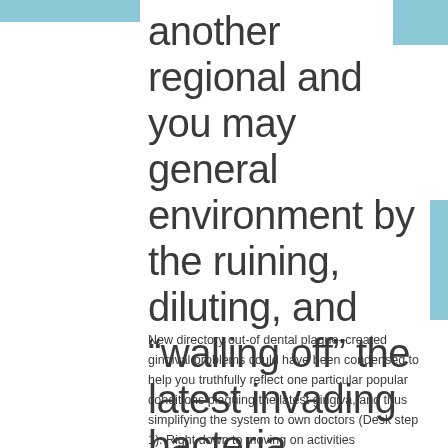another regional and you may general environment by the ruining, diluting, and “walling off” the latest invading bacteria
New directory out-of dental plaque–created gingival problems could have been condensed to help you truthfully reflect one particular popular conditions plaguing the latest gingiva, and thus simplifying the system to own doctors (Desk step 1). Right down to moving on activities represented of the patient, the medical care and attention merchant, drugs, people